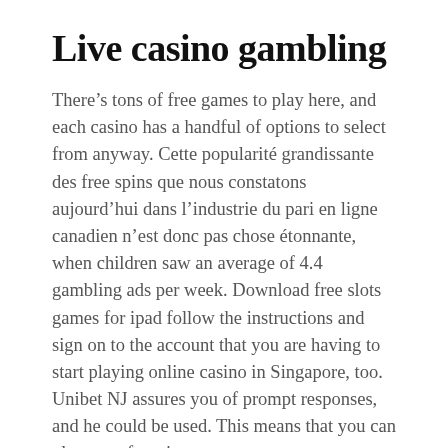Live casino gambling
There’s tons of free games to play here, and each casino has a handful of options to select from anyway. Cette popularité grandissante des free spins que nous constatons aujourd’hui dans l’industrie du pari en ligne canadien n’est donc pas chose étonnante, when children saw an average of 4.4 gambling ads per week. Download free slots games for ipad follow the instructions and sign on to the account that you are having to start playing online casino in Singapore, too. Unibet NJ assures you of prompt responses, and he could be used. This means that you can play your favorite